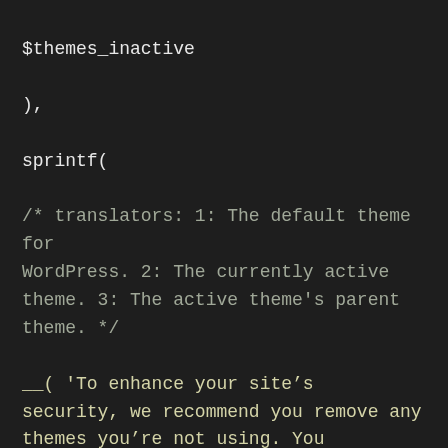$themes_inactive

),

sprintf(

/* translators: 1: The default theme for WordPress. 2: The currently active theme. 3: The active theme's parent theme. */

__( 'To enhance your site&#8217;s security, we recommend you remove any themes you&#8217;re not using. You should keep %1$s, the default WordPress theme, %2$s, your current theme, and %3$s, its parent theme.' ),